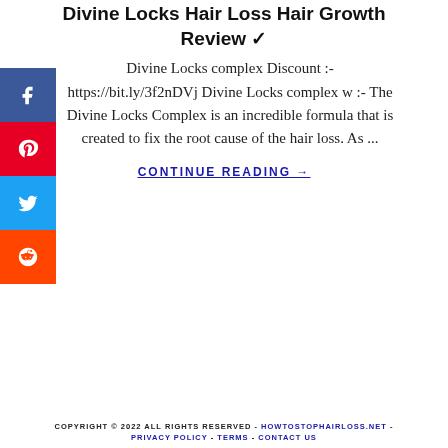Divine Locks Hair Loss Hair Growth Review ✓
Divine Locks complex Discount :- https://bit.ly/3f2nDVj Divine Locks complex w :- The Divine Locks Complex is an incredible formula that is created to fix the root cause of the hair loss. As ...
CONTINUE READING →
COPYRIGHT © 2022 ALL RIGHTS RESERVED - HOWTOSTOPHAIRLOSS.NET - PRIVACY POLICY - TERMS - CONTACT US